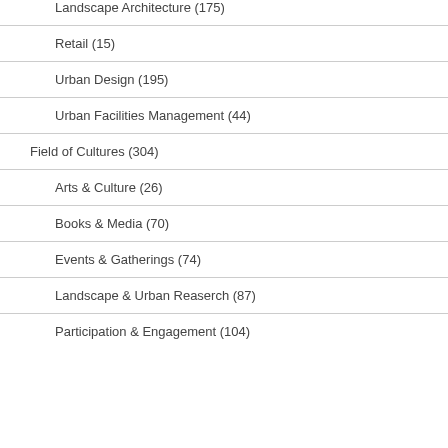Landscape Architecture (175)
Retail (15)
Urban Design (195)
Urban Facilities Management (44)
Field of Cultures (304)
Arts & Culture (26)
Books & Media (70)
Events & Gatherings (74)
Landscape & Urban Reaserch (87)
Participation & Engagement (104)